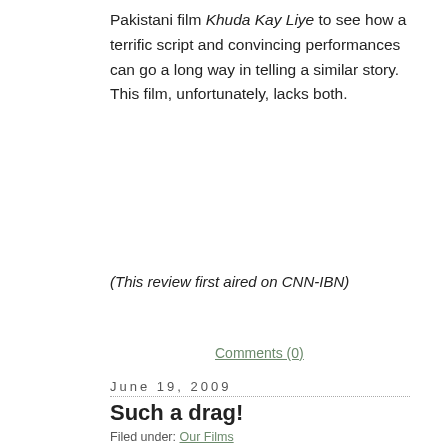Pakistani film Khuda Kay Liye to see how a terrific script and convincing performances can go a long way in telling a similar story. This film, unfortunately, lacks both.
(This review first aired on CNN-IBN)
Comments (0)
June 19, 2009
Such a drag!
Filed under: Our Films — Rajeev @ 4:26 pm